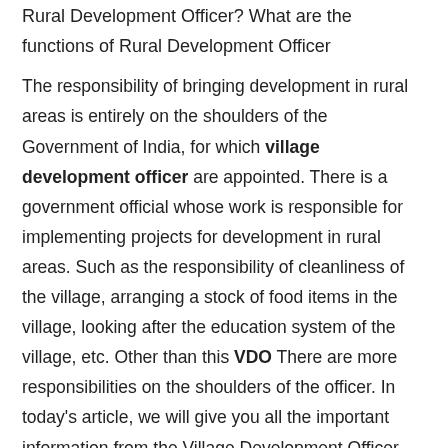Rural Development Officer? What are the functions of Rural Development Officer
The responsibility of bringing development in rural areas is entirely on the shoulders of the Government of India, for which village development officer are appointed. There is a government official whose work is responsible for implementing projects for development in rural areas. Such as the responsibility of cleanliness of the village, arranging a stock of food items in the village, looking after the education system of the village, etc. Other than this VDO There are more responsibilities on the shoulders of the officer. In today’s article, we will give you all the important information from the Village Development Officer like what is VDO? They are going to tell about their salary, exam syllabus and qualification etc. if you too village development officer If you want to develop in the rural area, then definitely read this article of ours till the end.
What Is Village Development